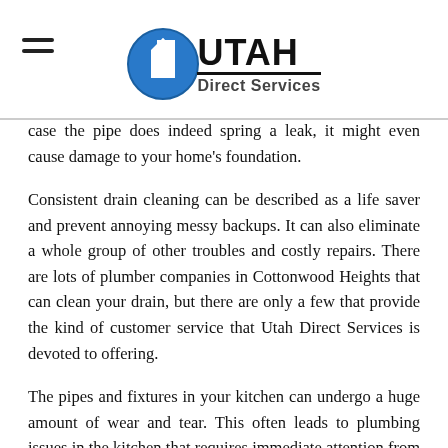Utah Direct Services
case the pipe does indeed spring a leak, it might even cause damage to your home's foundation.
Consistent drain cleaning can be described as a life saver and prevent annoying messy backups. It can also eliminate a whole group of other troubles and costly repairs. There are lots of plumber companies in Cottonwood Heights that can clean your drain, but there are only a few that provide the kind of customer service that Utah Direct Services is devoted to offering.
The pipes and fixtures in your kitchen can undergo a huge amount of wear and tear. This often leads to plumbing issues in the kitchen that requires immediate attention from one of our plumbers. One particular issue that individuals commonly see at our…